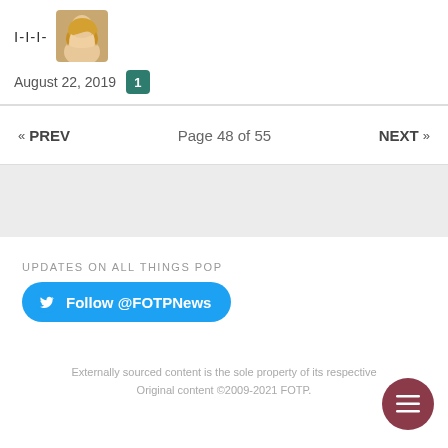I-I-I-
[Figure (photo): Small portrait photo of a blonde woman]
August 22, 2019  1
« PREV   Page 48 of 55   NEXT »
UPDATES ON ALL THINGS POP
Follow @FOTPNews
Externally sourced content is the sole property of its respective  Original content ©2009-2021 FOTP.